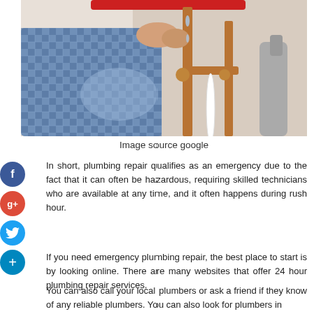[Figure (photo): Plumber working on copper and PVC pipes under a sink, wearing a blue checkered shirt, hands visible working with pipe fittings and red wrench at top.]
Image source google
In short, plumbing repair qualifies as an emergency due to the fact that it can often be hazardous, requiring skilled technicians who are available at any time, and it often happens during rush hour.
If you need emergency plumbing repair, the best place to start is by looking online. There are many websites that offer 24 hour plumbing repair services.
You can also call your local plumbers or ask a friend if they know of any reliable plumbers. You can also look for plumbers in